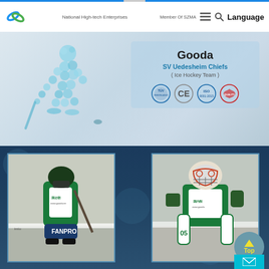National High-tech Enterprises | Member Of SZMA | Language
[Figure (logo): Green swirl/leaf logo icon for Gooda company]
Gooda
SV Uedesheim Chiefs
( Ice Hockey Team )
[Figure (illustration): Ice hockey player illustration made of mosaic/bubble pattern in teal/blue color, skating and shooting a puck]
[Figure (photo): Photo of ice hockey player in green and white uniform with Gooda branding, standing on ice rink]
[Figure (photo): Photo of ice hockey goalie in green and white uniform with decorated mask, in goal position on rink]